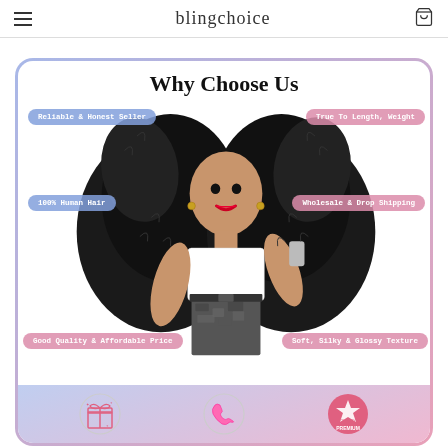blingchoice
[Figure (photo): Promotional banner titled 'Why Choose Us' featuring a young woman with voluminous curly hair wearing a white crop top reading 'VIBE' and camo pants, with feature pills: 'Reliable & Honest Seller', 'True To Length, Weight', '100% Human Hair', 'Wholesale & Drop Shipping', 'Good Quality & Affordable Price', 'Soft, Silky & Glossy Texture'. Bottom strip shows three icons: gift box, phone, and premium badge.]